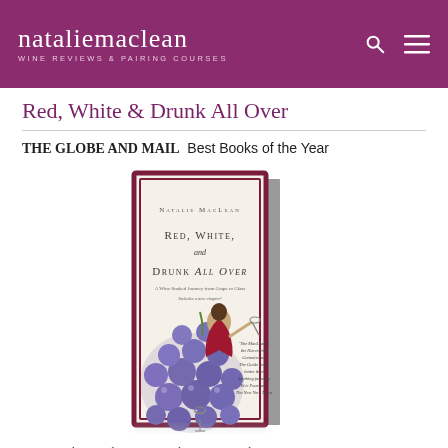natalie maclean — WINE REVIEWS & PAIRING COURSES
Red, White & Drunk All Over
THE GLOBE AND MAIL  Best Books of the Year
[Figure (photo): Book cover of 'Red, White, and Drunk All Over' by Natalie MacLean, featuring an illustrated woman in a red dress sitting atop a large cluster of purple grapes, with a cream background and dark red border.]
Natalie Maclean writes about wine with...